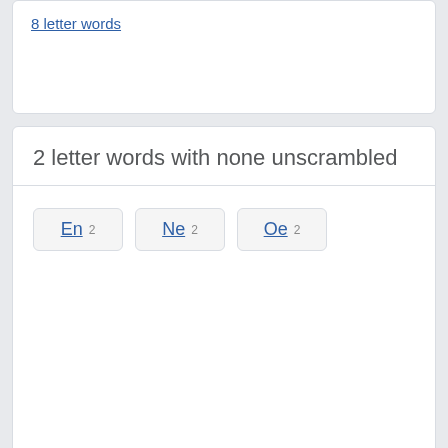8 letter words
2 letter words with none unscrambled
En 2
Ne 2
Oe 2
Advertisement